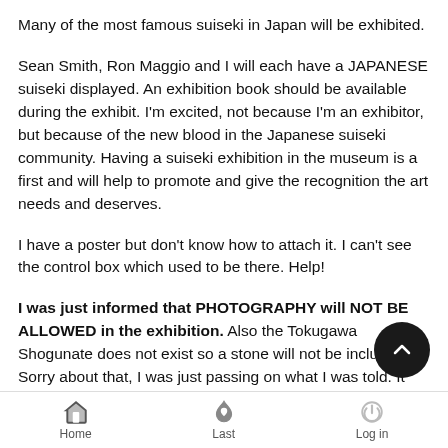Many of the most famous suiseki in Japan will be exhibited.
Sean Smith, Ron Maggio and I will each have a JAPANESE suiseki displayed. An exhibition book should be available during the exhibit. I'm excited, not because I'm an exhibitor, but because of the new blood in the Japanese suiseki community. Having a suiseki exhibition in the museum is a first and will help to promote and give the recognition the art needs and deserves.
I have a poster but don't know how to attach it. I can't see the control box which used to be there. Help!
I was just informed that PHOTOGRAPHY will NOT BE ALLOWED in the exhibition. Also the Tokugawa Shogunate does not exist so a stone will not be included. Sorry about that, I was just passing on what I was told. It will still be a great show!
Also, I'll be picking up few extra Commemorative Albums to carry
Home  Last  Log in